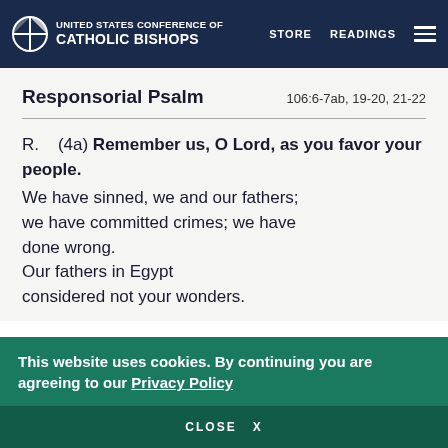UNITED STATES CONFERENCE OF CATHOLIC BISHOPS — STORE   READINGS
Responsorial Psalm   106:6-7ab, 19-20, 21-22
R.    (4a) Remember us, O Lord, as you favor your people.
We have sinned, we and our fathers; we have committed crimes; we have done wrong.
Our fathers in Egypt considered not your wonders.
This website uses cookies. By continuing you are agreeing to our Privacy Policy
CLOSE  X